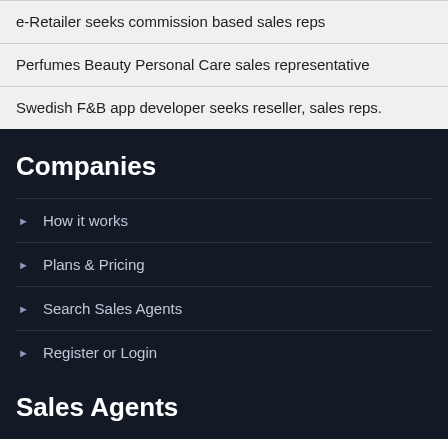e-Retailer seeks commission based sales reps
Perfumes Beauty Personal Care sales representative
Swedish F&B app developer seeks reseller, sales reps.
Companies
How it works
Plans & Pricing
Search Sales Agents
Register or Login
Sales Agents